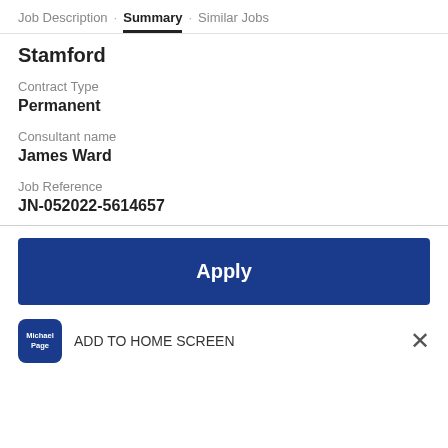Job Description · Summary · Similar Jobs
Stamford
Contract Type
Permanent
Consultant name
James Ward
Job Reference
JN-052022-5614657
Apply
ADD TO HOME SCREEN